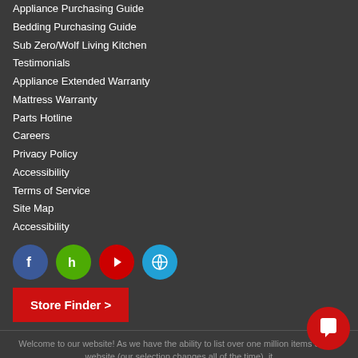Appliance Purchasing Guide
Bedding Purchasing Guide
Sub Zero/Wolf Living Kitchen
Testimonials
Appliance Extended Warranty
Mattress Warranty
Parts Hotline
Careers
Privacy Policy
Accessibility
Terms of Service
Site Map
Accessibility
[Figure (infographic): Social media icons: Facebook (blue circle), Houzz (green circle), YouTube (red circle), WordPress (light blue circle)]
Store Finder >
Welcome to our website! As we have the ability to list over one million items on our website (our selection changes all of the time), it